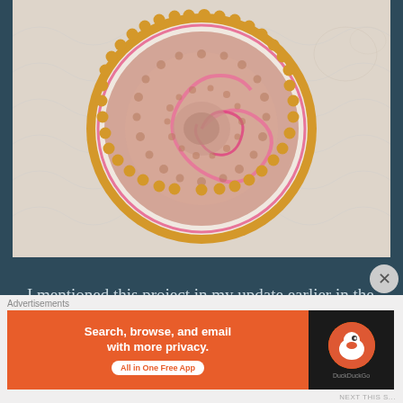[Figure (photo): A circular crochet piece (doily or cushion) with a spiral pattern in pink and cream colors, edged with golden/mustard yellow yarn, displayed on a white quilted background.]
I mentioned this project in my update earlier in the week. I'm using a pattern created and
Advertisements
[Figure (screenshot): DuckDuckGo advertisement banner: left orange section reads 'Search, browse, and email with more privacy. All in One Free App' with a white oval button; right dark section shows DuckDuckGo duck logo.]